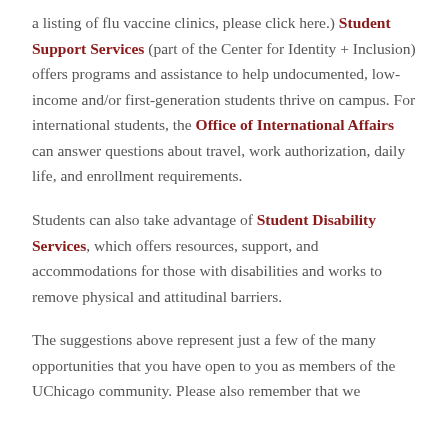a listing of flu vaccine clinics, please click here.) Student Support Services (part of the Center for Identity + Inclusion) offers programs and assistance to help undocumented, low-income and/or first-generation students thrive on campus. For international students, the Office of International Affairs can answer questions about travel, work authorization, daily life, and enrollment requirements.
Students can also take advantage of Student Disability Services, which offers resources, support, and accommodations for those with disabilities and works to remove physical and attitudinal barriers.
The suggestions above represent just a few of the many opportunities that you have open to you as members of the UChicago community. Please also remember that we